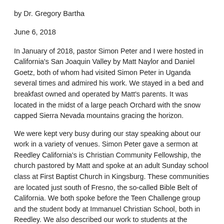by Dr. Gregory Bartha
June 6, 2018
In January of 2018, pastor Simon Peter and I were hosted in California's San Joaquin Valley by Matt Naylor and Daniel Goetz, both of whom had visited Simon Peter in Uganda several times and admired his work. We stayed in a bed and breakfast owned and operated by Matt's parents. It was located in the midst of a large peach Orchard with the snow capped Sierra Nevada mountains gracing the horizon.
We were kept very busy during our stay speaking about our work in a variety of venues. Simon Peter gave a sermon at Reedley California's is Christian Community Fellowship, the church pastored by Matt and spoke at an adult Sunday school class at First Baptist Church in Kingsburg. These communities are located just south of Fresno, the so-called Bible Belt of California. We both spoke before the Teen Challenge group and the student body at Immanuel Christian School, both in Reedley. We also described our work to students at the Christian Club in Dinuba High School and the prison chaplain in Fresno. People were very interested in the work and expressed interest in forming a team to visit and assist us in Uganda at some point in the future.
Matt gave us a tour of New London, an impoverished, largely Hispanic